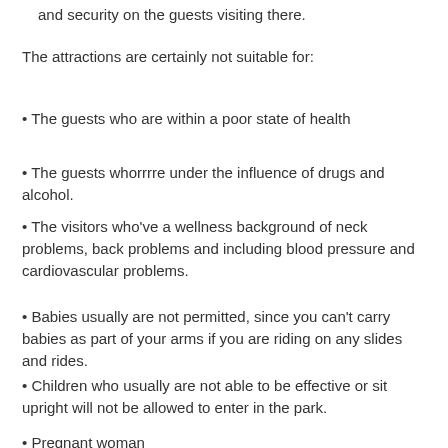and security on the guests visiting there.
The attractions are certainly not suitable for:
• The guests who are within a poor state of health
• The guests whorrrre under the influence of drugs and alcohol.
• The visitors who've a wellness background of neck problems, back problems and including blood pressure and cardiovascular problems.
• Babies usually are not permitted, since you can't carry babies as part of your arms if you are riding on any slides and rides.
• Children who usually are not able to be effective or sit upright will not be allowed to enter in the park.
• Pregnant woman